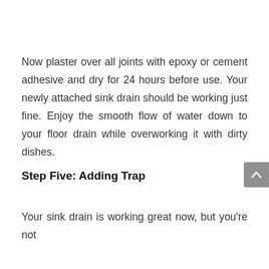Now plaster over all joints with epoxy or cement adhesive and dry for 24 hours before use. Your newly attached sink drain should be working just fine. Enjoy the smooth flow of water down to your floor drain while overworking it with dirty dishes.
Step Five: Adding Trap
Your sink drain is working great now, but you're not